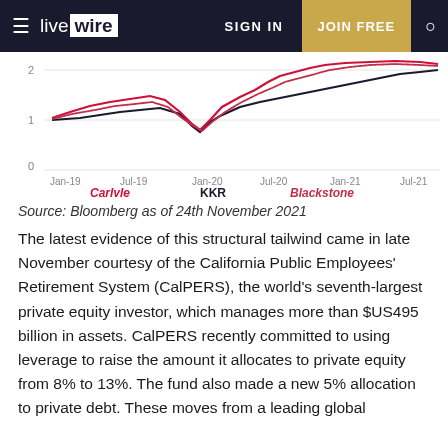live wire | SIGN IN | JOIN FREE
[Figure (line-chart): Carlyle, KKR, Blackstone performance Jan-19 to Jul-21]
Source: Bloomberg as of 24th November 2021
The latest evidence of this structural tailwind came in late November courtesy of the California Public Employees' Retirement System (CalPERS), the world's seventh-largest private equity investor, which manages more than $US495 billion in assets. CalPERS recently committed to using leverage to raise the amount it allocates to private equity from 8% to 13%. The fund also made a new 5% allocation to private debt. These moves from a leading global